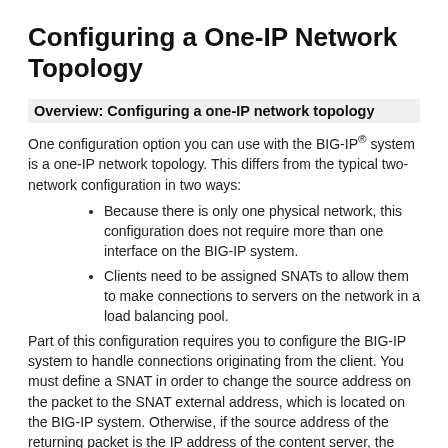Configuring a One-IP Network Topology
Overview: Configuring a one-IP network topology
One configuration option you can use with the BIG-IP® system is a one-IP network topology. This differs from the typical two-network configuration in two ways:
Because there is only one physical network, this configuration does not require more than one interface on the BIG-IP system.
Clients need to be assigned SNATs to allow them to make connections to servers on the network in a load balancing pool.
Part of this configuration requires you to configure the BIG-IP system to handle connections originating from the client. You must define a SNAT in order to change the source address on the packet to the SNAT external address, which is located on the BIG-IP system. Otherwise, if the source address of the returning packet is the IP address of the content server, the